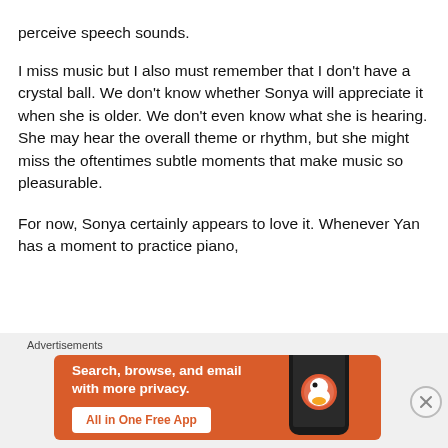perceive speech sounds.
I miss music but I also must remember that I don't have a crystal ball. We don't know whether Sonya will appreciate it when she is older. We don't even know what she is hearing. She may hear the overall theme or rhythm, but she might miss the oftentimes subtle moments that make music so pleasurable.
For now, Sonya certainly appears to love it. Whenever Yan has a moment to practice piano,
[Figure (screenshot): DuckDuckGo advertisement banner with orange background. Text reads: Search, browse, and email with more privacy. All in One Free App. Shows a phone with DuckDuckGo logo. Label 'Advertisements' above the banner.]